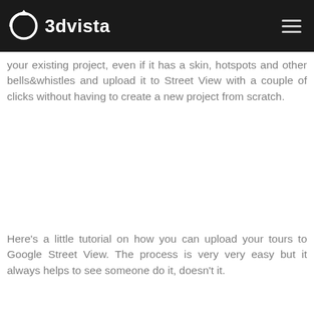3dvista
your existing project, even if it has a skin, hotspots and other bells&whistles and upload it to Street View with a couple of clicks without having to create a new project from scratch.
Here's a little tutorial on how you can upload your tours to Google Street View. The process is very very easy but it always helps to see someone do it, doesn't it.